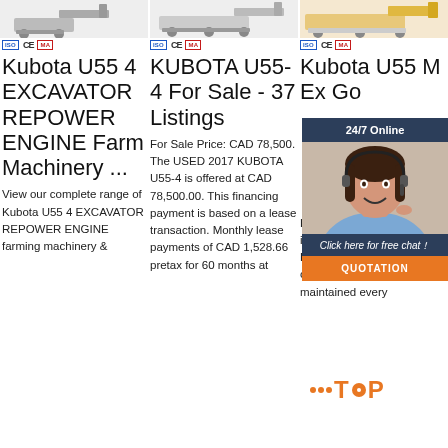[Figure (photo): Three excavator/machinery product images shown at top of three columns with ISO, CE, MA certification badges below each]
Kubota U55 4 EXCAVATOR REPOWER ENGINE Farm Machinery ...
KUBOTA U55-4 For Sale - 37 Listings
Kubota U55 Mini Excavator Goes ...
View our complete range of Kubota U55 4 EXCAVATOR REPOWER ENGINE farming machinery &
For Sale Price: CAD 78,500. The USED 2017 KUBOTA U55-4 is offered at CAD 78,500.00. This financing payment is based on a lease transaction. Monthly lease payments of CAD 1,528.66 pretax for 60 months at
Kubota U55 Mini Excavator Goes... Kubota 4 cycle diesel engine is operable with 409 hours. Hydrostatic transmission operable. Equipment was maintained every
[Figure (photo): 24/7 Online chat widget with female customer service agent, 'Click here for free chat!' text, and orange QUOTATION button]